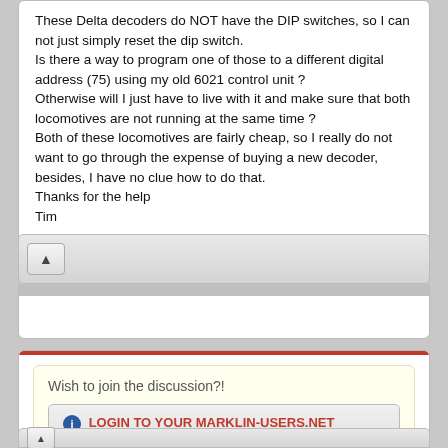These Delta decoders do NOT have the DIP switches, so I can not just simply reset the dip switch.
Is there a way to program one of those to a different digital address (75) using my old 6021 control unit ?
Otherwise will I just have to live with it and make sure that both locomotives are not running at the same time ?
Both of these locomotives are fairly cheap, so I really do not want to go through the expense of buying a new decoder, besides, I have no clue how to do that.
Thanks for the help
Tim
Wish to join the discussion?!
LOGIN TO YOUR MARKLIN-USERS.NET COMMUNITY | FORUM ACCOUNT
OR REGISTER A NEW FORUM ACCOUNT
. Or Connect via  Facebook